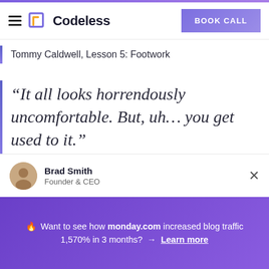Codeless — BOOK CALL
Tommy Caldwell, Lesson 5: Footwork
“It all looks horrendously uncomfortable. But, uh… you get used to it.”
Alex Honnold, Lesson 8: Crack Climbing
Brad Smith
Founder & CEO
🔥 Want to see how monday.com increased blog traffic 1,570% in 3 months? → Learn more